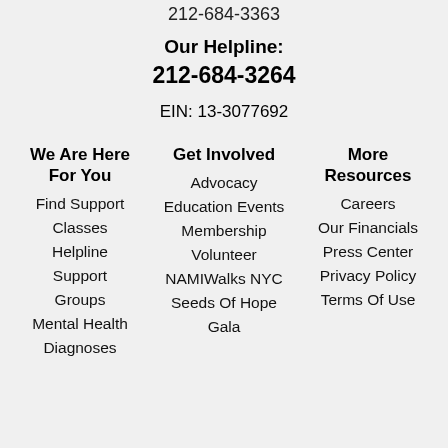212-684-3363
Our Helpline:
212-684-3264
EIN: 13-3077692
We Are Here For You
Find Support
Classes
Helpline
Support Groups
Mental Health Diagnoses
Get Involved
Advocacy
Education Events
Membership
Volunteer
NAMIWalks NYC
Seeds Of Hope Gala
More Resources
Careers
Our Financials
Press Center
Privacy Policy
Terms Of Use